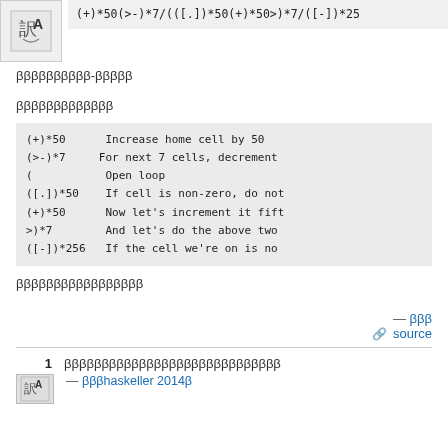[Figure (screenshot): Avatar icon with translation symbol (Chinese/English) and code snippet showing: (+)*50(>-)*7/([.])*50(+)*50>)*7/[-])*25]
ββββββββββ-βββββ
βββββββββββββ
(+)*50    Increase home cell by 50
(>-)*7    For next 7 cells, decrement
(         Open loop
([.])*50  If cell is non-zero, do not
(+)*50    Now let's increment it fift
>)*7      And let's do the above two
([-])*256  If the cell we're on is no
βββββββββββββββββ
— βββ
β source
1  βββββββββββββββββββββββββββββ
— βββhaskeller 2014β